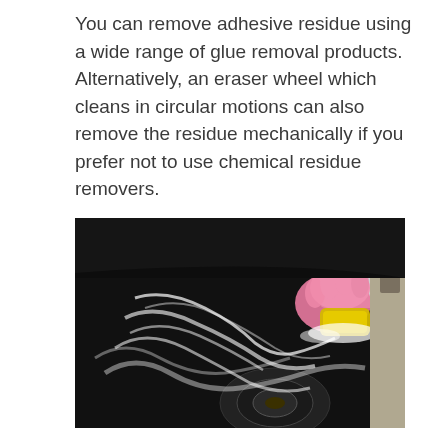You can remove adhesive residue using a wide range of glue removal products. Alternatively, an eraser wheel which cleans in circular motions can also remove the residue mechanically if you prefer not to use chemical residue removers.
[Figure (photo): A person wearing pink rubber gloves and using a yellow sponge to remove adhesive residue from the dark surface of a car hood, with white adhesive film being peeled/scrubbed away.]